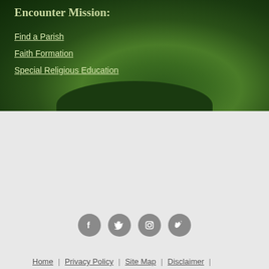Encounter Mission:
Find a Parish
Faith Formation
Special Religious Education
Home | Privacy Policy | Site Map | Disclaimer | Online Services
Copyright © 2022 The Catholic Archdiocese of Canberra & Goulburn
[Figure (infographic): Four social media icons: Facebook, Twitter, Instagram, Vimeo]